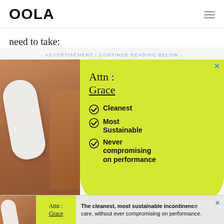OOLA
need to take:
- ADVERTISEMENT - CONTINUE READING BELOW -
[Figure (photo): Advertisement for Attn: Grace incontinence products. Left side shows a person's hands holding a white pad/liner against their body. Right side has a yellow-green background with brand name 'Attn: Grace' and checklist: Cleanest, Most Sustainable, Never compromising on performance. Close X button top right.]
[Figure (photo): Bottom sticky banner ad for Attn: Grace. Shows small product image on left, brand name in yellow-green panel, and text: The cleanest, most sustainable incontinence care, without ever compromising on performance. Close X button.]